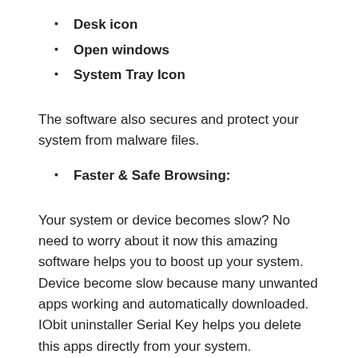Desk icon
Open windows
System Tray Icon
The software also secures and protect your system from malware files.
Faster & Safe Browsing:
Your system or device becomes slow? No need to worry about it now this amazing software helps you to boost up your system. Device become slow because many unwanted apps working and automatically downloaded. IObit uninstaller Serial Key helps you delete this apps directly from your system.
Nothing Leftover
Regular uninstallation cannot work efficiently, because